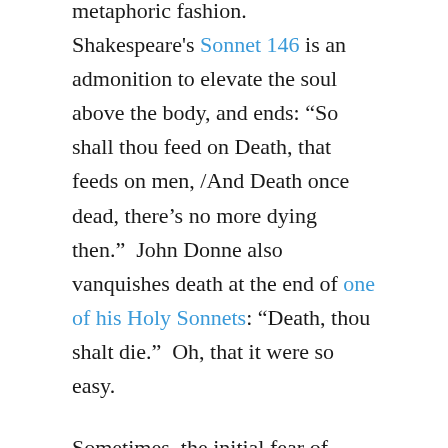metaphoric fashion.  Shakespeare's Sonnet 146 is an admonition to elevate the soul above the body, and ends: “So shall thou feed on Death, that feeds on men, /And Death once dead, there’s no more dying then.”  John Donne also vanquishes death at the end of one of his Holy Sonnets: “Death, thou shalt die.”  Oh, that it were so easy.
Sometimes, the initial fear of death prompts the protagonist to explore methods of immortality.  This is where Gilgamesh starts, in search of the magic plant that will allow him to stay both young and immortal.  In legend (if not in fact), Ponce de León searched high and low for the fount of immortality.  In the 16th century, Cranach painted a wonderful representation of it – old naked bodies going into the fountain and young bodies